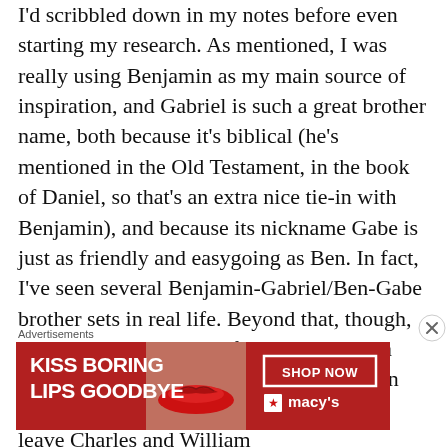I'd scribbled down in my notes before even starting my research. As mentioned, I was really using Benjamin as my main source of inspiration, and Gabriel is such a great brother name, both because it's biblical (he's mentioned in the Old Testament, in the book of Daniel, so that's an extra nice tie-in with Benjamin), and because its nickname Gabe is just as friendly and easygoing as Ben. In fact, I've seen several Benjamin-Gabriel/Ben-Gabe brother sets in real life. Beyond that, though, Gabriel is a style match for Dominic, John Paul, and Gianna as well, and is an entry in my book of Marian names! Finally, not to leave Charles and William
Advertisements
[Figure (illustration): Macy's advertisement banner with red background, 'KISS BORING LIPS GOODBYE' text, lip image, 'SHOP NOW' button, and Macy's logo with red star]